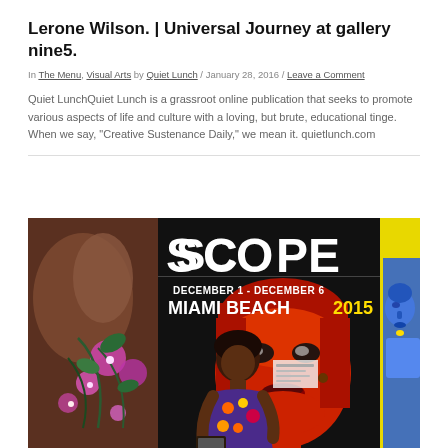Lerone Wilson. | Universal Journey at gallery nine5.
In The Menu, Visual Arts by Quiet Lunch / January 28, 2016 / Leave a Comment
Quiet LunchQuiet Lunch is a grassroot online publication that seeks to promote various aspects of life and culture with a loving, but brute, educational tinge. When we say, "Creative Sustenance Daily," we mean it. quietlunch.com
[Figure (photo): A woman standing in an art gallery in front of a large SCOPE Miami Beach December 1 - December 6 2015 poster featuring a Marilyn Monroe pop-art image, with colorful floral artwork on the left and a blue classical sculpture artwork on the right.]